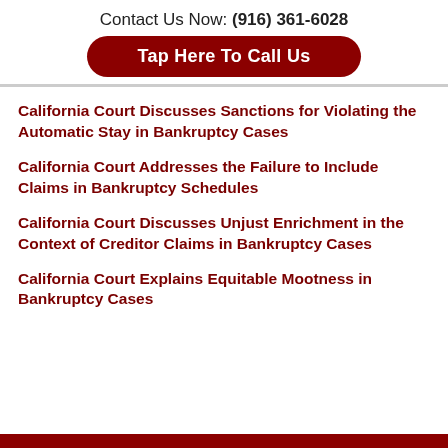Contact Us Now: (916) 361-6028
Tap Here To Call Us
California Court Discusses Sanctions for Violating the Automatic Stay in Bankruptcy Cases
California Court Addresses the Failure to Include Claims in Bankruptcy Schedules
California Court Discusses Unjust Enrichment in the Context of Creditor Claims in Bankruptcy Cases
California Court Explains Equitable Mootness in Bankruptcy Cases